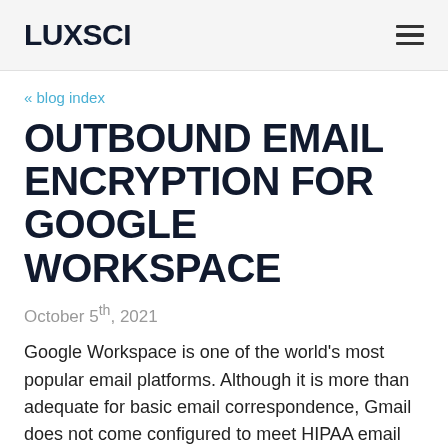LUXSCI
« blog index
OUTBOUND EMAIL ENCRYPTION FOR GOOGLE WORKSPACE
October 5th, 2021
Google Workspace is one of the world's most popular email platforms. Although it is more than adequate for basic email correspondence, Gmail does not come configured to meet HIPAA email